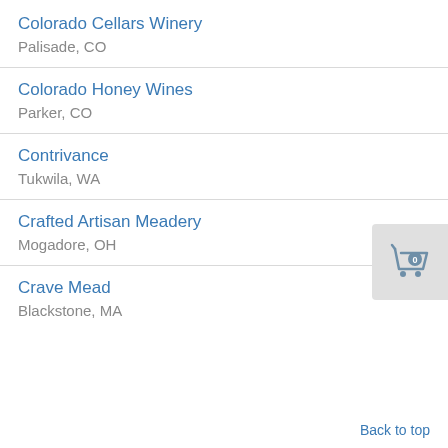Colorado Cellars Winery
Palisade, CO
Colorado Honey Wines
Parker, CO
Contrivance
Tukwila, WA
[Figure (illustration): Shopping cart icon with badge showing 0]
Crafted Artisan Meadery
Mogadore, OH
Crave Mead
Blackstone, MA
Back to top